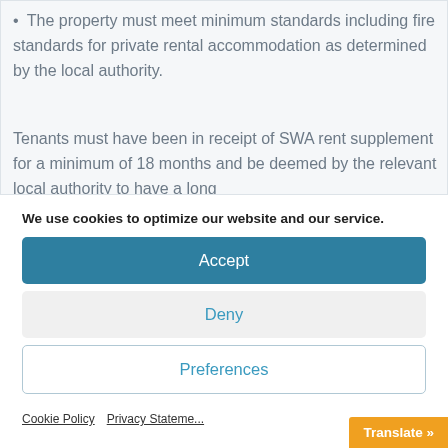• The property must meet minimum standards including fire standards for private rental accommodation as determined by the local authority.
Tenants must have been in receipt of SWA rent supplement for a minimum of 18 months and be deemed by the relevant local authority to have a long
We use cookies to optimize our website and our service.
Accept
Deny
Preferences
Cookie Policy   Privacy Statement
Translate »